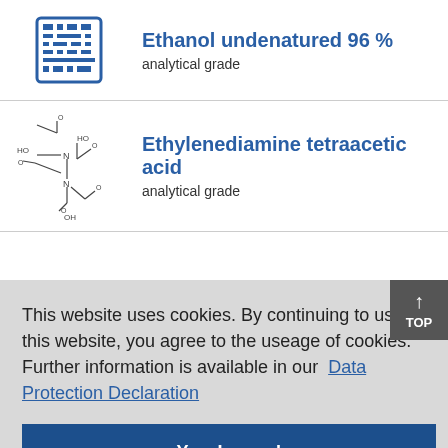[Figure (illustration): Building/microchip icon for Ethanol product]
Ethanol undenatured 96 %
analytical grade
[Figure (illustration): Chemical structure diagram of Ethylenediamine tetraacetic acid (EDTA)]
Ethylenediamine tetraacetic acid
analytical grade
This website uses cookies. By continuing to use this website, you agree to the useage of cookies. Further information is available in our  Data Protection Declaration
Yes, I agree!
sterile filtered